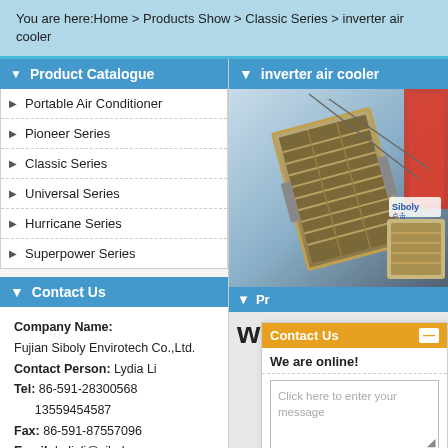You are here:Home > Products Show > Classic Series > inverter air cooler
▼ Product Catalogue
▶ Portable Air Conditioner
▶ Pioneer Series
▶ Classic Series
▶ Universal Series
▶ Hurricane Series
▶ Superpower Series
▼ Contact Us
Company Name: Fujian Siboly Envirotech Co.,Ltd.
Contact Person: Lydia Li
Tel: 86-591-28300568
     13559454587
Fax: 86-591-87557096
Email: lydiali@siboly.com
Address:
▼ inverter air cooler
[Figure (photo): Industrial inverter air cooler product photo showing a large evaporative cooling unit mounted at an angle, with the Siboly brand logo visible]
▼ Pr...
wat...
Contact Us — We are online!
Click here to enter your message